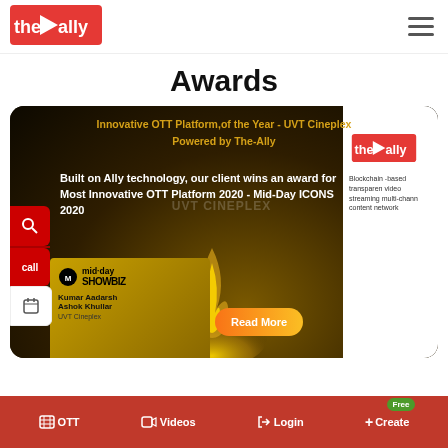[Figure (logo): The Ally logo - red background with white play button and text 'the ally']
Awards
[Figure (screenshot): Award card showing 'Innovative OTT Platform of the Year - UVT Cineplex Powered by The-Ally', with text 'Built on Ally technology, our client wins an award for Most Innovative OTT Platform 2020 - Mid-Day ICONS 2020', a Read More button, mid-day SHOWBIZ award placard with Kumar Aadarsh Ashok Khullar, and The-Ally logo on right side]
OTT  Videos  Login  +Create